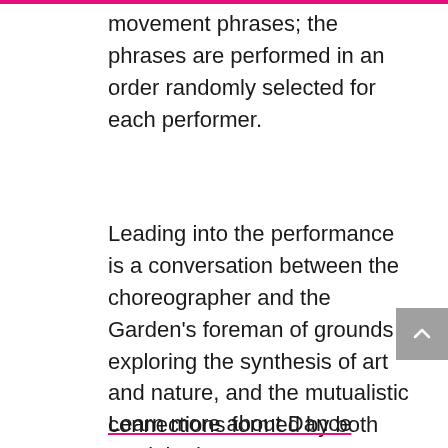movement phrases; the phrases are performed in an order randomly selected for each performer.
Leading into the performance is a conversation between the choreographer and the Garden's foreman of grounds exploring the synthesis of art and nature, and the mutualistic connections formed by both fungi and humans alike. The dance begins at minute 11.
Learn more about Dance Heginbotham >